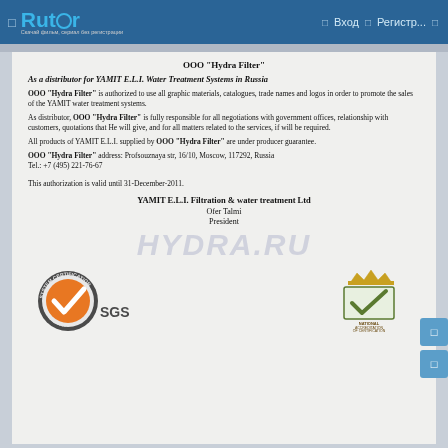Rutor | Вход | Регистр...
ООО "Hydra Filter"
As a distributor for YAMIT E.L.I. Water Treatment Systems in Russia
ООО "Hydra Filter" is authorized to use all graphic materials, catalogues, trade names and logos in order to promote the sales of the YAMIT water treatment systems.
As distributor, ООО "Hydra Filter" is fully responsible for all negotiations with government offices, relationship with customers, quotations that He will give, and for all matters related to the services, if will be required.
All products of YAMIT E.L.I. supplied by ООО "Hydra Filter" are under producer guarantee.
ООО "Hydra Filter" address: Profsouznaya str, 16/10, Moscow, 117292, Russia
Tel.: +7 (495) 221-76-67
This authorization is valid until 31-December-2011.
YAMIT E.L.I. Filtration & water treatment Ltd
Ofer Talmi
President
[Figure (logo): Watermark text HYDRA.RU in large italic gray letters]
[Figure (logo): SGS ISO 9001:2000 System Certification logo with orange checkmark circle]
[Figure (logo): National Accreditation of Certification Bodies certificate logo with crown and green checkmark]